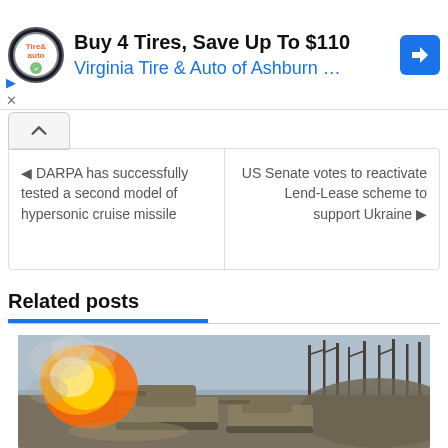[Figure (screenshot): Advertisement banner for Virginia Tire & Auto of Ashburn with logo, text 'Buy 4 Tires, Save Up To $110' and 'Virginia Tire & Auto of Ashburn...', navigation icon, and play/close controls]
⟨ DARPA has successfully tested a second model of hypersonic cruise missile
US Senate votes to reactivate Lend-Lease scheme to support Ukraine ⟩
Related posts
[Figure (photo): Military tanks firing in a winter landscape with a large muzzle flash/explosion visible, bare trees in background]